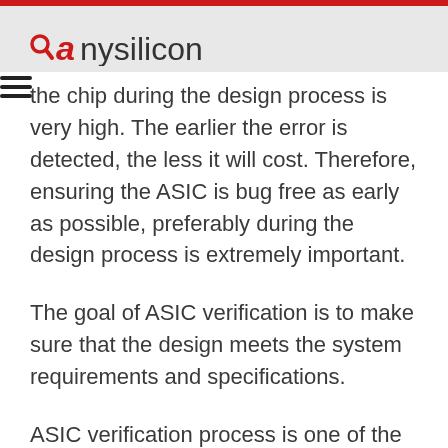anysilicon
the chip during the design process is very high. The earlier the error is detected, the less it will cost. Therefore, ensuring the ASIC is bug free as early as possible, preferably during the design process is extremely important.
The goal of ASIC verification is to make sure that the design meets the system requirements and specifications.
ASIC verification process is one of the crucial things during ASIC design process and can consume as much as 70-80% of the total ASIC design and verification time, while the...